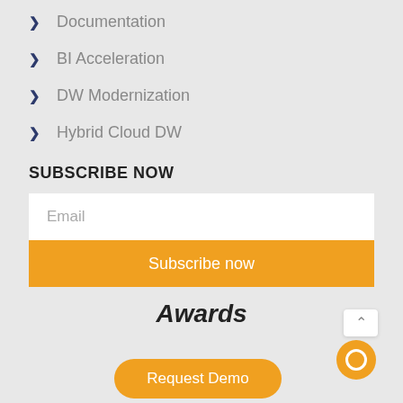Documentation
BI Acceleration
DW Modernization
Hybrid Cloud DW
SUBSCRIBE NOW
Email
Subscribe now
Awards
Request Demo